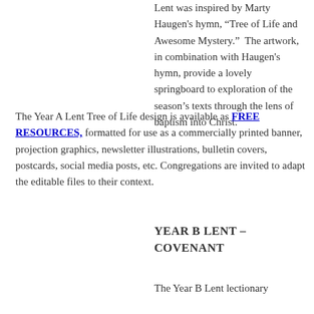Lent was inspired by Marty Haugen's hymn, “Tree of Life and Awesome Mystery.”  The artwork, in combination with Haugen's hymn, provide a lovely springboard to exploration of the season’s texts through the lens of baptism into Christ.
The Year A Lent Tree of Life design is available as FREE RESOURCES, formatted for use as a commercially printed banner, projection graphics, newsletter illustrations, bulletin covers, postcards, social media posts, etc. Congregations are invited to adapt the editable files to their context.
YEAR B LENT – COVENANT
The Year B Lent lectionary